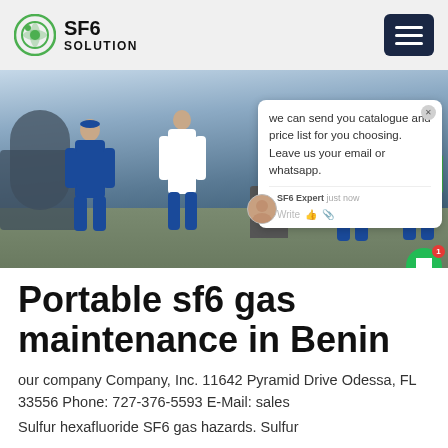SF6 SOLUTION
[Figure (photo): Workers in blue coveralls performing SF6 gas maintenance on industrial equipment outdoors. A chat popup overlay is visible on the right side of the image with text: 'we can send you catalogue and price list for you choosing. Leave us your email or whatsapp.' Agent label: SF6 Expert, just now.]
Portable sf6 gas maintenance in Benin
our company Company, Inc. 11642 Pyramid Drive Odessa, FL 33556 Phone: 727-376-5593 E-Mail: sales
Sulfur hexafluoride SF6 gas hazards. Sulfur